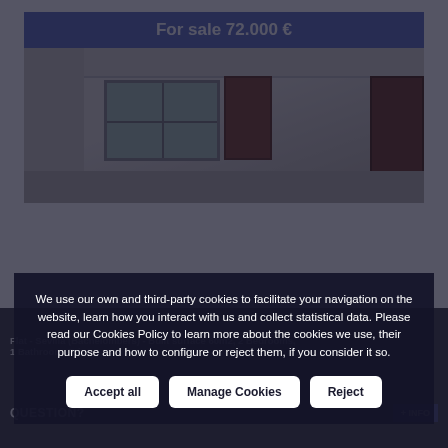[Figure (photo): Interior room photo of a flat for sale at 72,000 euros, showing white walls, window with bars, and brown doors]
For sale 72.000 €
Flat - Sevilla (Bachelombers) - Built surface 60m2, 2 Bedrooms, 1 Bathroom, Price...
QUESTION?
+ INFO
We use our own and third-party cookies to facilitate your navigation on the website, learn how you interact with us and collect statistical data. Please read our Cookies Policy to learn more about the cookies we use, their purpose and how to configure or reject them, if you consider it so.
Accept all
Manage Cookies
Reject